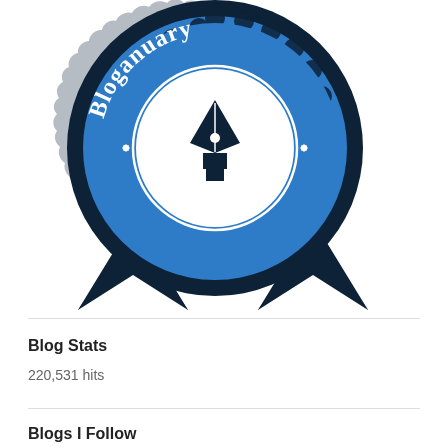[Figure (logo): Bloganuary 2022 badge/award seal. A blue circular badge with scalloped edges, white text 'Bloganuary' arched at the top, a white circle in the center containing a black ink pen nib icon, and '2022' text at the bottom. Below the circle are two dark navy ribbon/banner tails forming a decorative award ribbon shape.]
Blog Stats
220,531 hits
Blogs I Follow